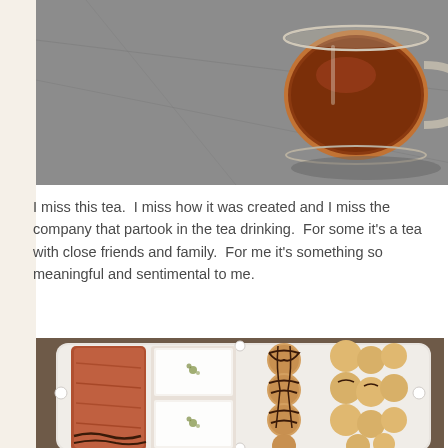[Figure (photo): Overhead view of a glass mug filled with dark reddish-brown tea, on a gray surface]
I miss this tea.  I miss how it was created and I miss the company that partook in the tea drinking.  For some it's a tea with close friends and family.  For me it's something so meaningful and sentimental to me.
[Figure (photo): White serving platter with assorted pastries and desserts: rolled pastries, white powdered sugar squares with green garnish, chocolate-drizzled cream puffs, and plain cream puffs]